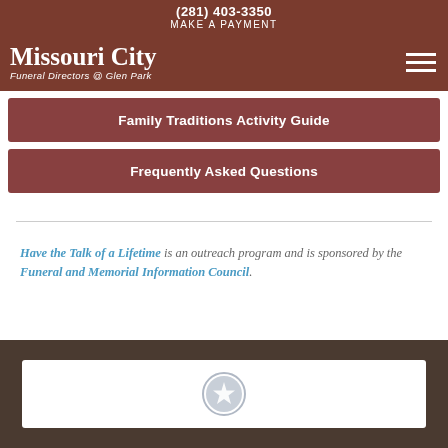(281) 403-3350 MAKE A PAYMENT
Missouri City Funeral Directors @ Glen Park
Family Traditions Activity Guide
Frequently Asked Questions
Have the Talk of a Lifetime is an outreach program and is sponsored by the Funeral and Memorial Information Council.